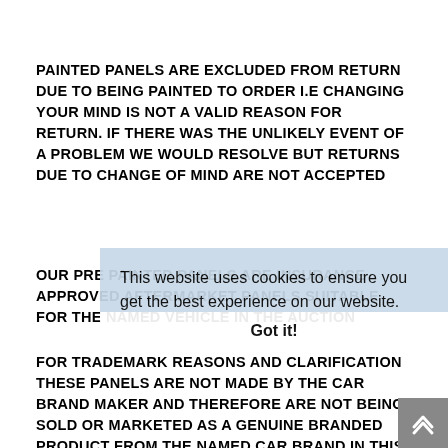PAINTED PANELS ARE EXCLUDED FROM RETURN DUE TO BEING PAINTED TO ORDER I.E CHANGING YOUR MIND IS NOT A VALID REASON FOR RETURN. IF THERE WAS THE UNLIKELY EVENT OF A PROBLEM WE WOULD RESOLVE BUT RETURNS DUE TO CHANGE OF MIND ARE NOT ACCEPTED
OUR PRE PAINTED PANELS ARE INSURANCE APPROVED AFTERMARKET PANELS SUITABLE FOR THE NAMED VEHICLE IN THE AUCTION
FOR TRADEMARK REASONS AND CLARIFICATION THESE PANELS ARE NOT MADE BY THE CAR BRAND MAKER AND THEREFORE ARE NOT BEING SOLD OR MARKETED AS A GENUINE BRANDED PRODUCT FROM THE NAMED CAR BRAND IN THIS AUCTION
This website uses cookies to ensure you get the best experience on our website. Learn more
Got it!